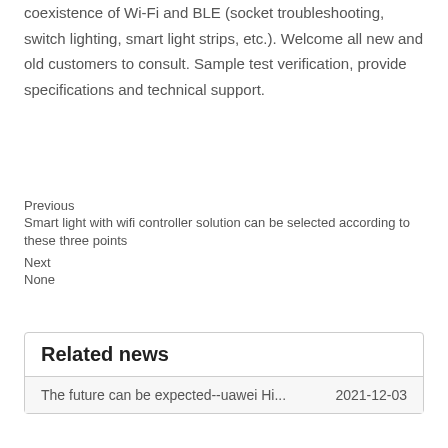This is an IOT module solution that supports the coexistence of Wi-Fi and BLE (socket troubleshooting, switch lighting, smart light strips, etc.). Welcome all new and old customers to consult. Sample test verification, provide specifications and technical support.
Previous
Smart light with wifi controller solution can be selected according to these three points
Next
None
Related news
The future can be expected--uawei Hi...    2021-12-03